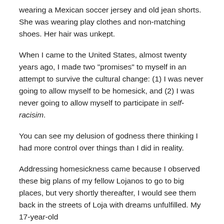wearing a Mexican soccer jersey and old jean shorts. She was wearing play clothes and non-matching shoes. Her hair was unkept.
When I came to the United States, almost twenty years ago, I made two "promises" to myself in an attempt to survive the cultural change: (1) I was never going to allow myself to be homesick, and (2) I was never going to allow myself to participate in self-racisim.
You can see my delusion of godness there thinking I had more control over things than I did in reality.
Addressing homesickness came because I observed these big plans of my fellow Lojanos to go to big places, but very shortly thereafter, I would see them back in the streets of Loja with dreams unfulfilled. My 17-year-old